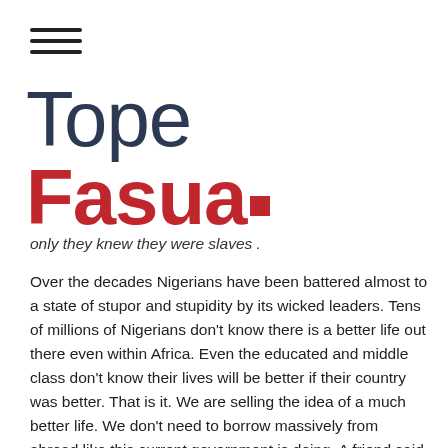[Figure (other): Hamburger menu icon — three horizontal lines stacked]
Tope Fasua.
only they knew they were slaves .
Over the decades Nigerians have been battered almost to a state of stupor and stupidity by its wicked leaders. Tens of millions of Nigerians don't know there is a better life out there even within Africa. Even the educated and middle class don't know their lives will be better if their country was better. That is it. We are selling the idea of a much better life. We don't need to borrow massively from abroad like this current government is doing. A friend said that if we continue to service our debts at this rate it will take us 120 years already to exit these debts. Yet we are taking more. So ours is not about self glorification. We are here to give the responsibility back to Nigerians and this country back to the youths who own the future. They should